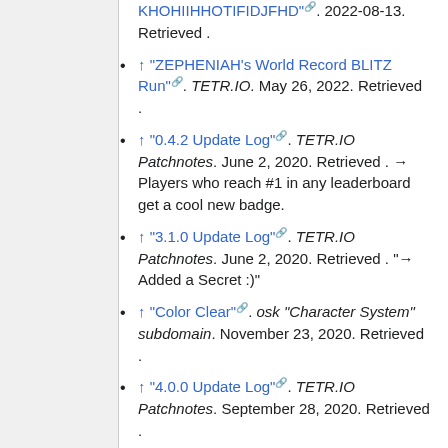↑ "ZEPHENIAH's World Record BLITZ Run". TETR.IO. May 26, 2022. Retrieved .
↑ "0.4.2 Update Log". TETR.IO Patchnotes. June 2, 2020. Retrieved . → Players who reach #1 in any leaderboard get a cool new badge.
↑ "3.1.0 Update Log". TETR.IO Patchnotes. June 2, 2020. Retrieved . "→ Added a Secret :)"
↑ "Color Clear". osk "Character System" subdomain. November 23, 2020. Retrieved .
↑ "4.0.0 Update Log". TETR.IO Patchnotes. September 28, 2020. Retrieved .
↑ "5.0.0 Update Log". TETR.IO